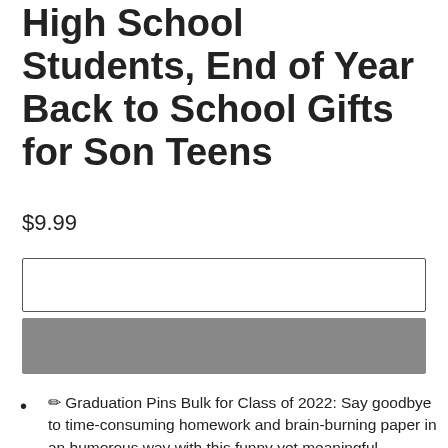High School Students, End of Year Back to School Gifts for Son Teens
$9.99
[Figure (other): Empty text input box]
[Figure (other): Gray button]
🎓 Graduation Pins Bulk for Class of 2022: Say goodbye to time-consuming homework and brain-burning paper in an humorous way with this funny yet meaningful